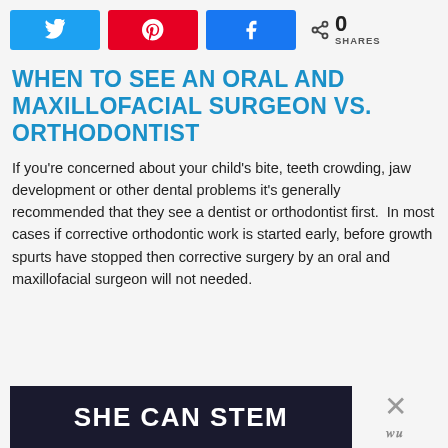[Figure (other): Social share buttons: Twitter (blue), Pinterest (red), Facebook (blue), and a share count showing 0 SHARES]
WHEN TO SEE AN ORAL AND MAXILLOFACIAL SURGEON VS. ORTHODONTIST
If you’re concerned about your child’s bite, teeth crowding, jaw development or other dental problems it’s generally recommended that they see a dentist or orthodontist first.  In most cases if corrective orthodontic work is started early, before growth spurts have stopped then corrective surgery by an oral and maxillofacial surgeon will not needed.
[Figure (other): Advertisement banner with dark background showing 'SHE CAN STEM' text, with a close (X) button and wp logo on the right]